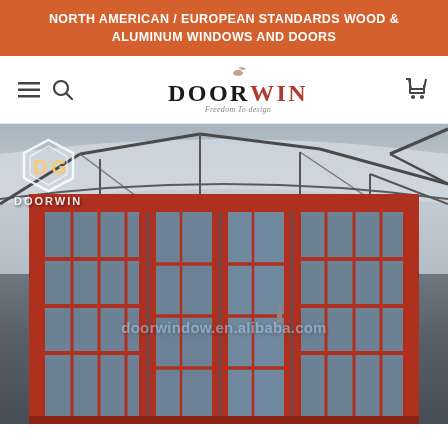NORTH AMERICAN / EUROPEAN STANDARDS WOOD & ALUMINUM WINDOWS AND DOORS
[Figure (logo): Doorwin company logo with navigation bar including hamburger menu, search icon, centered DOORWIN logo with bird emblem, and shopping cart icon]
[Figure (photo): Factory showroom interior showing large red/burgundy aluminum-framed sliding or folding glass doors with grid/mullion pattern displayed in an industrial warehouse setting with steel roof trusses. Doorwin logo watermark in top-left corner. Alibaba watermark 'doorwindow.en.alibaba.com' overlaid on image.]